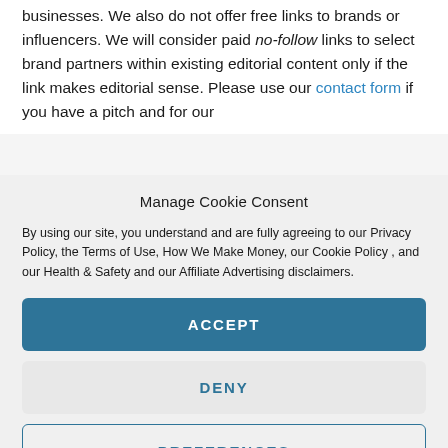businesses. We also do not offer free links to brands or influencers. We will consider paid no-follow links to select brand partners within existing editorial content only if the link makes editorial sense. Please use our contact form if you have a pitch and for our
Manage Cookie Consent
By using our site, you understand and are fully agreeing to our Privacy Policy, the Terms of Use, How We Make Money, our Cookie Policy , and our Health & Safety and our Affiliate Advertising disclaimers.
ACCEPT
DENY
PREFERENCES